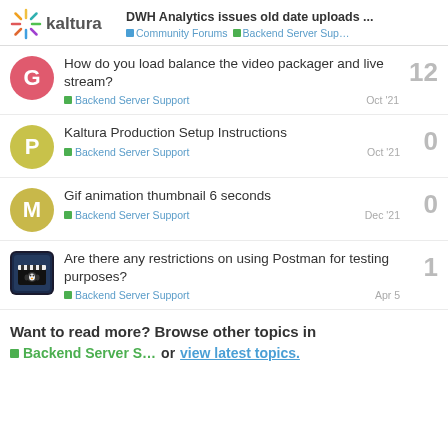DWH Analytics issues old date uploads ... | Community Forums | Backend Server Support
How do you load balance the video packager and live stream? | Backend Server Support | Oct '21 | 12
Kaltura Production Setup Instructions | Backend Server Support | Oct '21 | 0
Gif animation thumbnail 6 seconds | Backend Server Support | Dec '21 | 0
Are there any restrictions on using Postman for testing purposes? | Backend Server Support | Apr 5 | 1
Want to read more? Browse other topics in Backend Server S... or view latest topics.